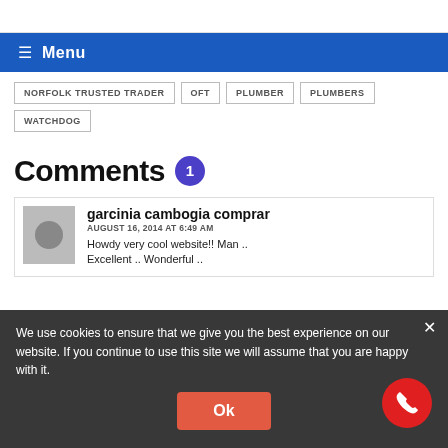Menu
NORFOLK TRUSTED TRADER
OFT
PLUMBER
PLUMBERS
WATCHDOG
Comments 1
garcinia cambogia comprar
AUGUST 16, 2014 AT 6:49 AM
Howdy very cool website!! Man .. Excellent .. Wonderful ..
We use cookies to ensure that we give you the best experience on our website. If you continue to use this site we will assume that you are happy with it.